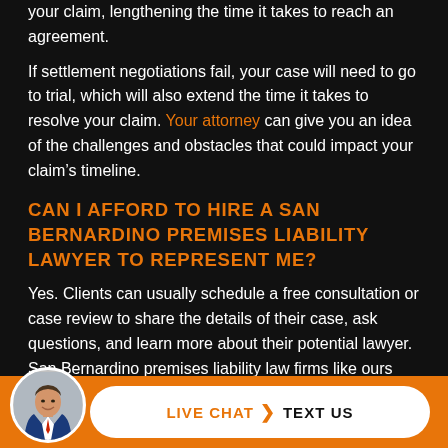your claim, lengthening the time it takes to reach an agreement.
If settlement negotiations fail, your case will need to go to trial, which will also extend the time it takes to resolve your claim. Your attorney can give you an idea of the challenges and obstacles that could impact your claim’s timeline.
CAN I AFFORD TO HIRE A SAN BERNARDINO PREMISES LIABILITY LAWYER TO REPRESENT ME?
Yes. Clients can usually schedule a free consultation or case review to share the details of their case, ask questions, and learn more about their potential lawyer. San Bernardino premises liability law firms like ours take new clients on a contingency fee basis.
[Figure (other): Bottom bar with attorney avatar, Live Chat and Text Us buttons on orange background]